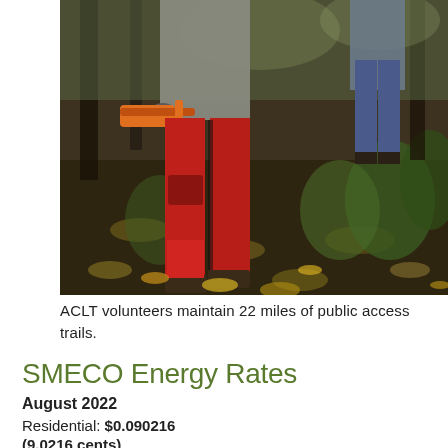[Figure (photo): Outdoor photo showing a person in red safety pants and gloves holding a chainsaw, working on a forest trail covered with fallen leaves. Another person in blue jeans is visible in the background.]
ACLT volunteers maintain 22 miles of public access trails.
SMECO Energy Rates
August 2022
Residential: $0.090216
(9.0216 cents)